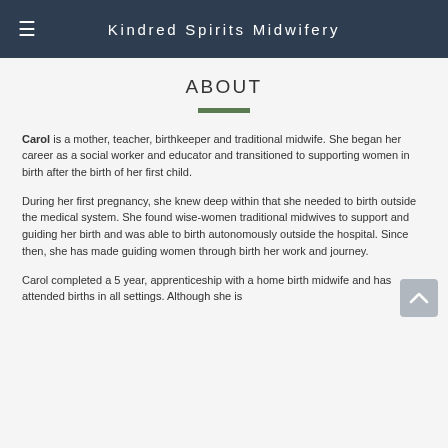Kindred Spirits Midwifery
ABOUT
Carol is a mother, teacher, birthkeeper and traditional midwife. She began her career as a social worker and educator and transitioned to supporting women in birth after the birth of her first child.
During her first pregnancy, she knew deep within that she needed to birth outside the medical system. She found wise-women traditional midwives to support and guiding her birth and was able to birth autonomously outside the hospital. Since then, she has made guiding women through birth her work and journey.
Carol completed a 5 year, apprenticeship with a home birth midwife and has attended births in all settings. Although she is